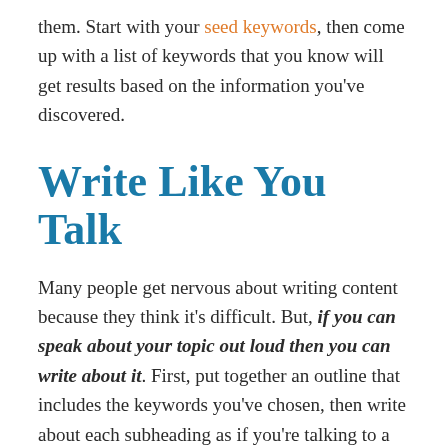them. Start with your seed keywords, then come up with a list of keywords that you know will get results based on the information you've discovered.
Write Like You Talk
Many people get nervous about writing content because they think it's difficult. But, if you can speak about your topic out loud then you can write about it. First, put together an outline that includes the keywords you've chosen, then write about each subheading as if you're talking to a friend.